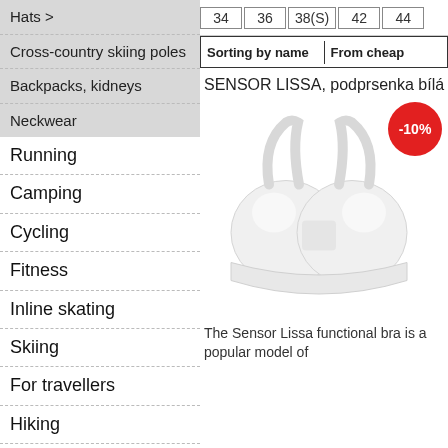Hats >
Cross-country skiing poles
Backpacks, kidneys
Neckwear
Running
Camping
Cycling
Fitness
Inline skating
Skiing
For travellers
Hiking
Gift Certificates
Backpacks
| 34 | 36 | 38(S) | 42 | 44 |
| --- | --- | --- | --- | --- |
Sorting by name | From cheap
SENSOR LISSA, podprsenka bílá
[Figure (photo): White sports bra (Sensor Lissa) with a -10% discount badge in red circle.]
The Sensor Lissa functional bra is a popular model of